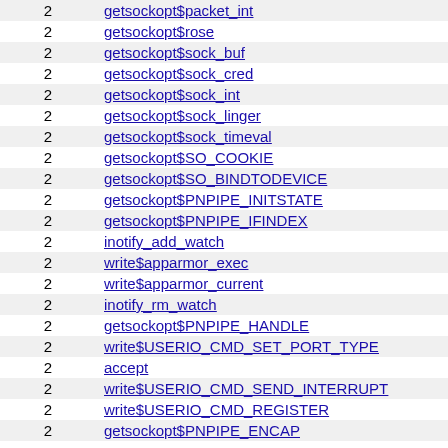|  |  |
| --- | --- |
| 2 | getsockopt$packet_int |
| 2 | getsockopt$rose |
| 2 | getsockopt$sock_buf |
| 2 | getsockopt$sock_cred |
| 2 | getsockopt$sock_int |
| 2 | getsockopt$sock_linger |
| 2 | getsockopt$sock_timeval |
| 2 | getsockopt$SO_COOKIE |
| 2 | getsockopt$SO_BINDTODEVICE |
| 2 | getsockopt$PNPIPE_INITSTATE |
| 2 | getsockopt$PNPIPE_IFINDEX |
| 2 | inotify_add_watch |
| 2 | write$apparmor_exec |
| 2 | write$apparmor_current |
| 2 | inotify_rm_watch |
| 2 | getsockopt$PNPIPE_HANDLE |
| 2 | write$USERIO_CMD_SET_PORT_TYPE |
| 2 | accept |
| 2 | write$USERIO_CMD_SEND_INTERRUPT |
| 2 | write$USERIO_CMD_REGISTER |
| 2 | getsockopt$PNPIPE_ENCAP |